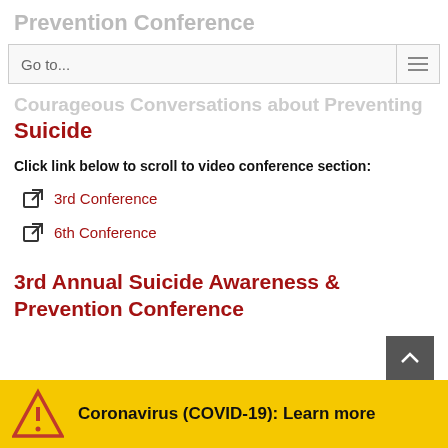Prevention Conference
Go to...
Courageous Conversations about Preventing Suicide
Click link below to scroll to video conference section:
3rd Conference
6th Conference
3rd Annual Suicide Awareness & Prevention Conference
Coronavirus (COVID-19): Learn more